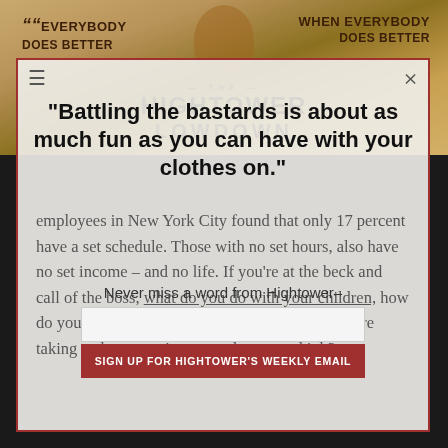[Figure (illustration): Banner image for 'The Hightower Lowdown' with text 'EVERYBODY DOES BETTER WHEN EVERYBODY DOES BETTER' and a figure in the center]
“Battling the bastards is about as much fun as you can have with your clothes on.”
Never miss a word from Hightower– sign up today.
employees in New York City found that only 17 percent have a set schedule. Those with no set hours, also have no set income – and no life. If you’re at the beck and call of the boss, what do you do with your children, how do you make a doctor’s appointment, what if you’re taking a class or trying to work a second job?
SIGN UP FOR HIGHTOWER'S WEEKLY EMAIL